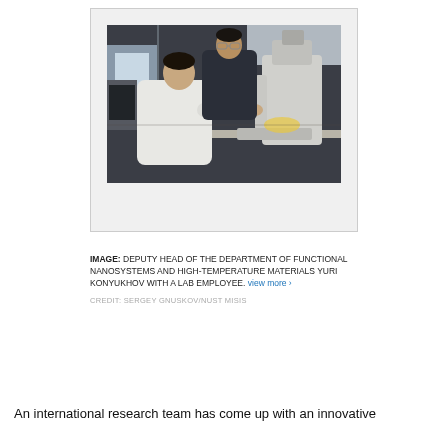[Figure (photo): Two researchers in a laboratory setting. One person in a white lab coat is seated at a microscope, while another person in dark clothing leans over to look at the equipment. The lab has various instruments and equipment visible in the background.]
IMAGE: DEPUTY HEAD OF THE DEPARTMENT OF FUNCTIONAL NANOSYSTEMS AND HIGH-TEMPERATURE MATERIALS YURI KONYUKHOV WITH A LAB EMPLOYEE. view more ›
CREDIT: SERGEY GNUSKOV/NUST MISIS
An international research team has come up with an innovative